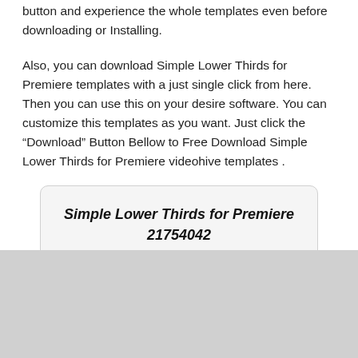button and experience the whole templates even before downloading or Installing.
Also, you can download Simple Lower Thirds for Premiere templates with a just single click from here. Then you can use this on your desire software. You can customize this templates as you want. Just click the “Download” Button Bellow to Free Download Simple Lower Thirds for Premiere videohive templates .
Simple Lower Thirds for Premiere 21754042
Size: 73.34 MB